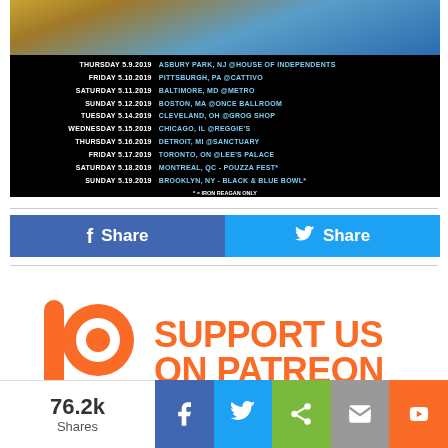[Figure (photo): Concert tour poster showing dates from Thursday 5.9.2019 through Sunday 5.19.2019 with venues across US and Canada, on black background with illustrated figure at top]
THURSDAY 5.9.2019  ASBURY PARK, NJ @HOUSE OF INDEPENDENTS
FRIDAY 5.10.2019  PITTSBURGH, PA @CATTIVO
SATURDAY 5.11.2019  BALTIMORE, MD @METRO
SUNDAY 5.12.2019  BOSTON, MA @ONCE BALLROOM
TUESDAY 5.14.2019  CLEVELAND, OH @GROG SHOP
WEDNESDAY 5.15.2019  CHICAGO, IL @REGGIE'S
THURSDAY 5.16.2019  DETROIT, MI @SANCTUARY
FRIDAY 5.17.2019  TORONTO, ON @LEE'S PALACE
SATURDAY 5.18.2019  MONTREAL, QC - POUZZA FEST*
SUNDAY 5.19.2019  BROOKLYN, NY - BLACK & BLUE BOWL*
* = IRON REAGAN ONLY
[Figure (infographic): Facebook and Twitter share buttons side by side]
[Figure (logo): Patreon logo with text SUPPORT US ON PATREON in orange]
76.2k Shares
[Figure (infographic): Bottom social share bar with Facebook, Twitter, share, email, and Blogger icons]